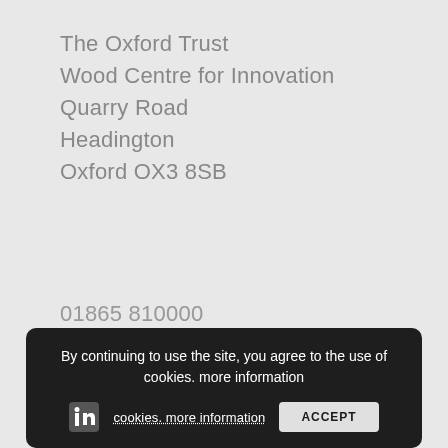The Oxford Trust
Wood Centre for Innovation
Quarry Road
Headington
Oxford OX3 8SB
01865 810000
info@theoxfordtrust.co.uk
Social Media
Follow us
By continuing to use the site, you agree to the use of cookies. more information ACCEPT